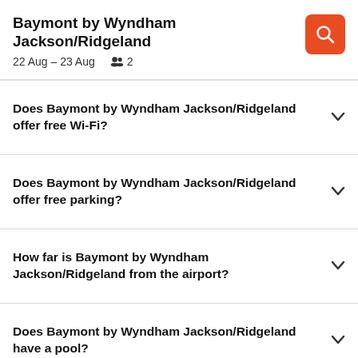Baymont by Wyndham Jackson/Ridgeland
22 Aug – 23 Aug  2
Does Baymont by Wyndham Jackson/Ridgeland offer free Wi-Fi?
Does Baymont by Wyndham Jackson/Ridgeland offer free parking?
How far is Baymont by Wyndham Jackson/Ridgeland from the airport?
Does Baymont by Wyndham Jackson/Ridgeland have a pool?
How does KAYAK find such great Baymont by Wyndham Jackson/Ridgeland hotel deals?